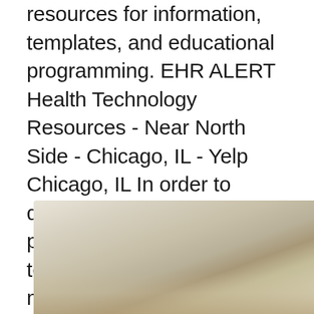resources for information, templates, and educational programming. EHR ALERT Health Technology Resources - Near North Side - Chicago, IL - Yelp Chicago, IL In order to design, create, or provide a product or service, it takes technological resources to make it happen. Technological resources cover a wide range of things including machines, energy, data, tools, and of course, people, without wh We are experiencing extremely high call volume related to COVID-19 vaccine interest. Please understand that our phone lines must be clear for urgent medical care needs.
[Figure (photo): A photo showing what appears to be a close-up of a surface with warm beige and tan tones, partially visible at the bottom of the page.]